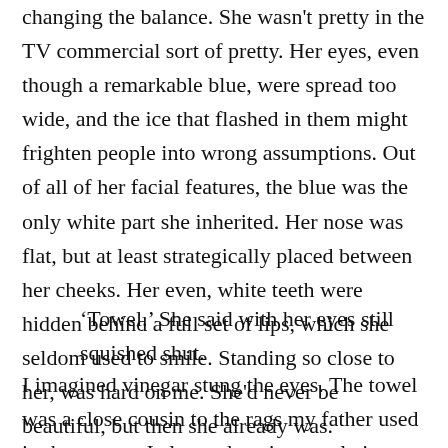changing the balance. She wasn't pretty in the TV commercial sort of pretty. Her eyes, even though a remarkable blue, were spread too wide, and the ice that flashed in them might frighten people into wrong assumptions. Out of all of her facial features, the blue was the only white part she inherited. Her nose was flat, but at least strategically placed between her cheeks. Her even, white teeth were hidden behind a full set of lips, which she seldom used to smile. Standing so close to her, was hard on me. She'd never be beautiful, but then she already was.
‘Towel.’ She said with her eyes still squished shut.
I imagined vinegar stung the eyes. The towel was a close cousin to the rags my father used in the garage. I also, a dawning revelation, understood the look my parents shared when they asked if I would look after Hony. We